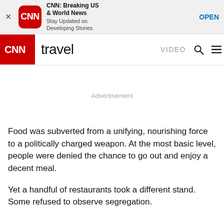[Figure (screenshot): CNN app promotional banner with CNN logo icon, title 'CNN: Breaking US & World News', subtitle 'Stay Updated on Developing Stories', and OPEN button]
CNN travel  VIDEO
Advertisement
Food was subverted from a unifying, nourishing force to a politically charged weapon. At the most basic level, people were denied the chance to go out and enjoy a decent meal.
Yet a handful of restaurants took a different stand. Some refused to observe segregation.